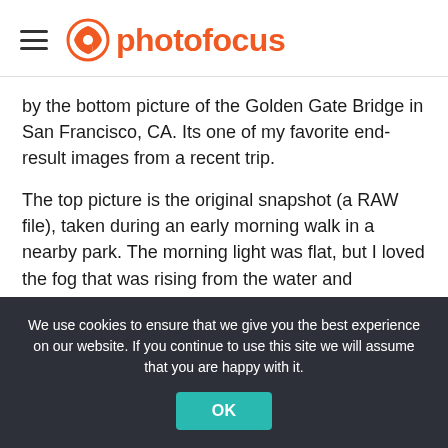photofocus
by the bottom picture of the Golden Gate Bridge in San Francisco, CA. Its one of my favorite end-result images from a recent trip.
The top picture is the original snapshot (a RAW file), taken during an early morning walk in a nearby park. The morning light was flat, but I loved the fog that was rising from the water and shrouding the lower portion of the bridge.
We use cookies to ensure that we give you the best experience on our website. If you continue to use this site we will assume that you are happy with it.